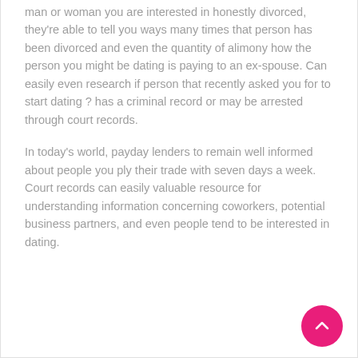man or woman you are interested in honestly divorced, they're able to tell you ways many times that person has been divorced and even the quantity of alimony how the person you might be dating is paying to an ex-spouse. Can easily even research if person that recently asked you for to start dating ? has a criminal record or may be arrested through court records.
In today's world, payday lenders to remain well informed about people you ply their trade with seven days a week. Court records can easily valuable resource for understanding information concerning coworkers, potential business partners, and even people tend to be interested in dating.